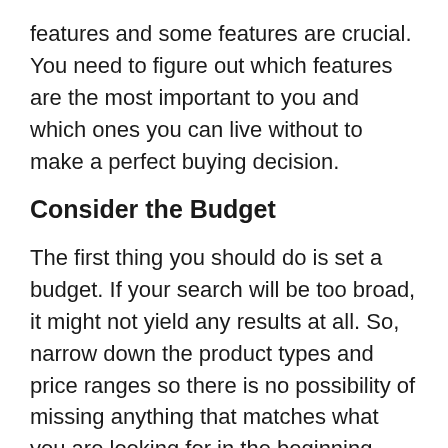features and some features are crucial. You need to figure out which features are the most important to you and which ones you can live without to make a perfect buying decision.
Consider the Budget
The first thing you should do is set a budget. If your search will be too broad, it might not yield any results at all. So, narrow down the product types and price ranges so there is no possibility of missing anything that matches what you are looking for in the beginning stages. You can always expand your options after narrowing things out.
You will also want to consider how much